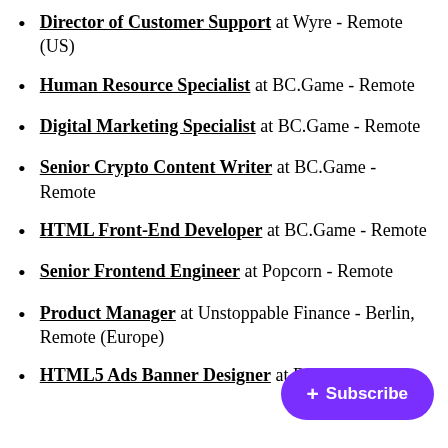Director of Customer Support at Wyre - Remote (US)
Human Resource Specialist at BC.Game - Remote
Digital Marketing Specialist at BC.Game - Remote
Senior Crypto Content Writer at BC.Game - Remote
HTML Front-End Developer at BC.Game - Remote
Senior Frontend Engineer at Popcorn - Remote
Product Manager at Unstoppable Finance - Berlin, Remote (Europe)
HTML5 Ads Banner Designer at BC.Game